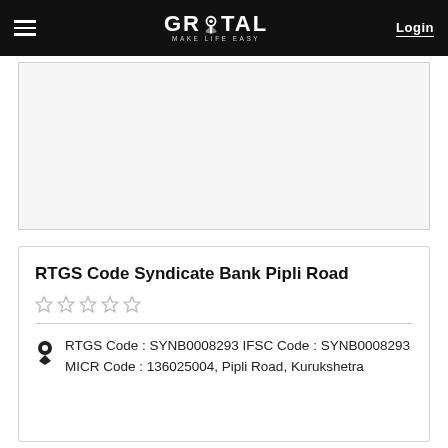GROTAL MAKE LIFE EASY — Login
[Figure (other): Advertisement placeholder box]
RTGS Code Syndicate Bank Pipli Road
RTGS Code : SYNB0008293 IFSC Code : SYNB0008293 MICR Code : 136025004, Pipli Road, Kurukshetra